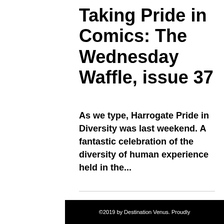Taking Pride in Comics: The Wednesday Waffle, issue 37
As we type, Harrogate Pride in Diversity was last weekend. A fantastic celebration of the diversity of human experience held in the...
©2019 by Destination Venus. Proudly...